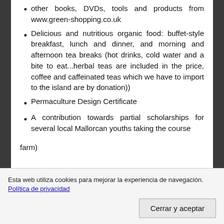other books, DVDs, tools and products from www.green-shopping.co.uk
Delicious and nutritious organic food: buffet-style breakfast, lunch and dinner, and morning and afternoon tea breaks (hot drinks, cold water and a bite to eat...herbal teas are included in the price, coffee and caffeinated teas which we have to import to the island are by donation))
Permaculture Design Certificate
A contribution towards partial scholarships for several local Mallorcan youths taking the course
Esta web utiliza cookies para mejorar la experiencia de navegación. Política de privacidad
Cerrar y aceptar
farm)